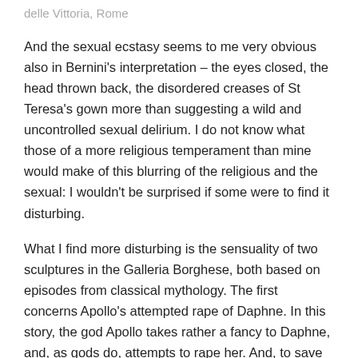delle Vittoria, Rome
And the sexual ecstasy seems to me very obvious also in Bernini's interpretation – the eyes closed, the head thrown back, the disordered creases of St Teresa's gown more than suggesting a wild and uncontrolled sexual delirium. I do not know what those of a more religious temperament than mine would make of this blurring of the religious and the sexual: I wouldn't be surprised if some were to find it disturbing.
What I find more disturbing is the sensuality of two sculptures in the Galleria Borghese, both based on episodes from classical mythology. The first concerns Apollo's attempted rape of Daphne. In this story, the god Apollo takes rather a fancy to Daphne, and, as gods do, attempts to rape her. And, to save her from this fate, she is